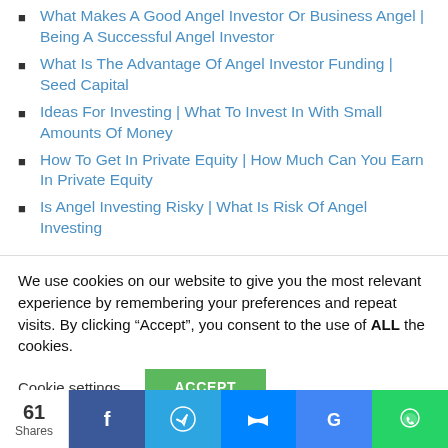What Makes A Good Angel Investor Or Business Angel | Being A Successful Angel Investor
What Is The Advantage Of Angel Investor Funding | Seed Capital
Ideas For Investing | What To Invest In With Small Amounts Of Money
How To Get In Private Equity | How Much Can You Earn In Private Equity
Is Angel Investing Risky | What Is Risk Of Angel Investing
We use cookies on our website to give you the most relevant experience by remembering your preferences and repeat visits. By clicking “Accept”, you consent to the use of ALL the cookies.
Cookie settings  ACCEPT
61 Shares  [Facebook] [Telegram] [Messenger] [Google+] [WhatsApp]